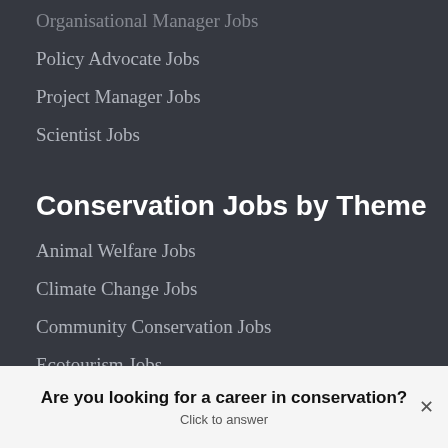Organisational Manager Jobs
Policy Advocate Jobs
Project Manager Jobs
Scientist Jobs
Conservation Jobs by Theme
Animal Welfare Jobs
Climate Change Jobs
Community Conservation Jobs
Ecotourism Jobs
Fisheries Jobs
Marine Conservation Jobs
Restoration & Rewilding Jobs
Are you looking for a career in conservation? Click to answer